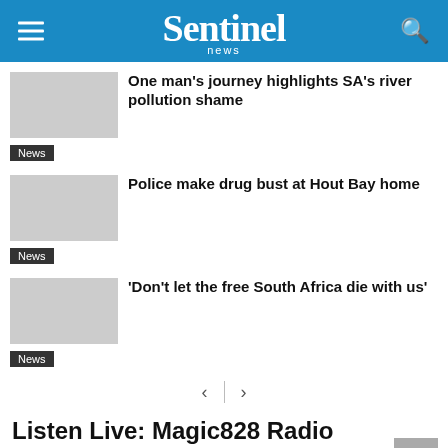Sentinel news
One man's journey highlights SA's river pollution shame
News
Police make drug bust at Hout Bay home
News
'Don't let the free South Africa die with us'
News
Listen Live: Magic828 Radio
Sorry, something technical went wrong!